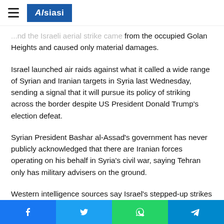Alsiasi
...nd the Israeli aerial strike came from the occupied Golan Heights and caused only material damages.
Israel launched air raids against what it called a wide range of Syrian and Iranian targets in Syria last Wednesday, sending a signal that it will pursue its policy of striking across the border despite US President Donald Trump’s election defeat.
Syrian President Bashar al-Assad’s government has never publicly acknowledged that there are Iranian forces operating on his behalf in Syria’s civil war, saying Tehran only has military advisers on the ground.
Western intelligence sources say Israel’s stepped-up strikes